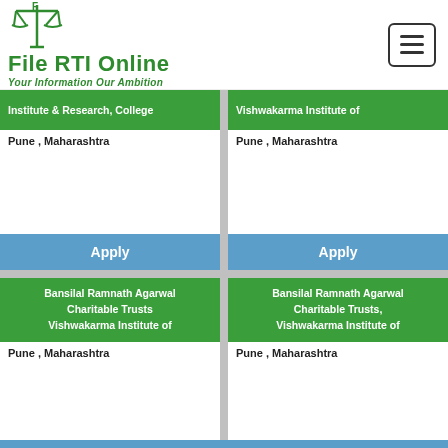[Figure (logo): File RTI Online logo with scales of justice icon and tagline 'Your Information Our Ambition' in green]
Institute & Research, College
Pune , Maharashtra
Vishwakarma Institute of
Pune , Maharashtra
Apply
Apply
Bansilal Ramnath Agarwal Charitable Trusts Vishwakarma Institute of
Pune , Maharashtra
Bansilal Ramnath Agarwal Charitable Trusts, Vishwakarma Institute of
Pune , Maharashtra